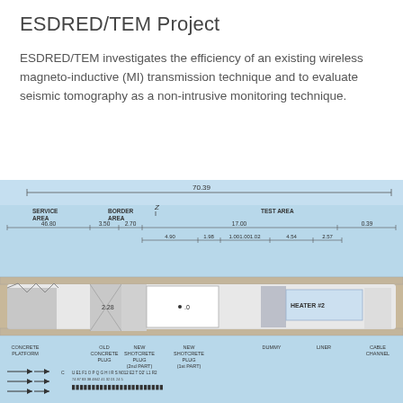ESDRED/TEM Project
ESDRED/TEM investigates the efficiency of an existing wireless magneto-inductive (MI) transmission technique and to evaluate seismic tomography as a non-intrusive monitoring technique.
[Figure (engineering-diagram): Cross-sectional engineering diagram of a tunnel test setup showing SERVICE AREA (46.80m), BORDER AREA (3.50m, 2.70m), and TEST AREA (17.00m, 0.39m) with dimensions labeled 70.39 total. Interior shows concrete platform, old concrete plug, new shotcrete plug (2nd part), new shotcrete plug (1st part), dummy, liner, cable channel, and HEATER #2. Various sub-dimensions shown: 4.90, 1.98, 1.00, 1.00, 1.02, 4.54, 2.57. Arrows and sensor lines shown at bottom with coordinate labels.]